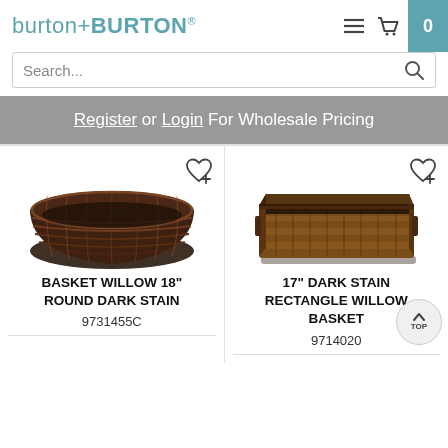[Figure (logo): burton+BURTON logo in teal/blue color]
Search...
Register or Login For Wholesale Pricing
[Figure (photo): Dark stain round willow basket, 18 inch]
[Figure (photo): 17 inch dark stain rectangle willow basket]
BASKET WILLOW 18" ROUND DARK STAIN 9731455C
17" DARK STAIN RECTANGLE WILLOW BASKET 9714020